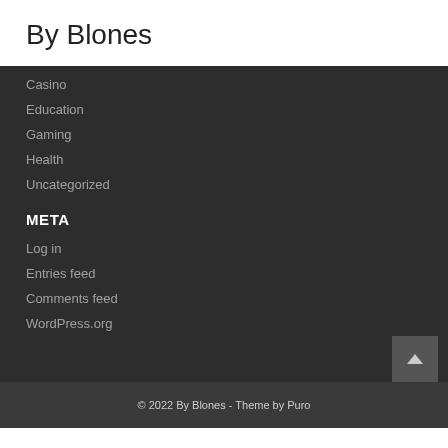By Blones
Casino
Education
Gaming
Health
Uncategorized
META
Log in
Entries feed
Comments feed
WordPress.org
© 2022 By Blones  -  Theme by Puro